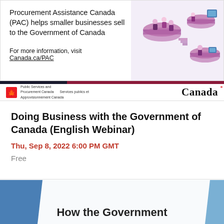[Figure (infographic): Procurement Assistance Canada banner with isometric illustration of people on purple platforms with digital screens. Text: 'Procurement Assistance Canada (PAC) helps smaller businesses sell to the Government of Canada. For more information, visit Canada.ca/PAC'. Government of Canada logo with maple leaf, 'Public Services and Procurement Canada / Services publics et Approvisionnement Canada' and Canada wordmark.]
Doing Business with the Government of Canada (English Webinar)
Thu, Sep 8, 2022 6:00 PM GMT
Free
[Figure (screenshot): Bottom portion of a blue and white presentation slide with title 'How the Government' visible at the bottom, with blue diagonal geometric shapes on left and right sides.]